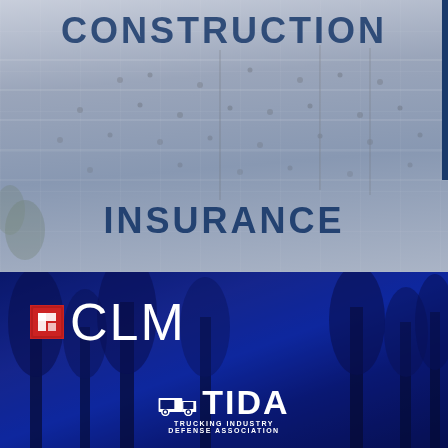[Figure (photo): Aerial/elevated view of a public plaza with people walking, palm trees visible at lower left, with semi-transparent overlay. Text 'CONSTRUCTION' appears at the top and 'INSURANCE' in the lower portion of this image section.]
CONSTRUCTION
INSURANCE
[Figure (photo): Dark blue-toned forest/trees background with CLM logo (red square icon + white CLM letters) in upper left and TIDA (Trucking Industry Defense Association) logo at the bottom center.]
[Figure (logo): CLM logo: red square bracket icon followed by white letters CLM]
[Figure (logo): TIDA logo: Trucking Industry Defense Association, white text with truck icon]